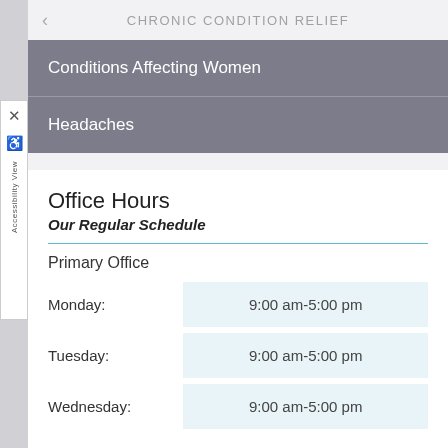CHRONIC CONDITION RELIEF
Conditions Affecting Women
Headaches
Office Hours
Our Regular Schedule
Primary Office
| Day | Hours |
| --- | --- |
| Monday: | 9:00 am-5:00 pm |
| Tuesday: | 9:00 am-5:00 pm |
| Wednesday: | 9:00 am-5:00 pm |